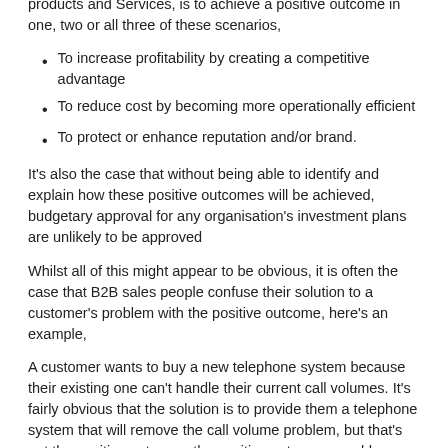products and Services, is to achieve a positive outcome in one, two or all three of these scenarios,
To increase profitability by creating a competitive advantage
To reduce cost by becoming more operationally efficient
To protect or enhance reputation and/or brand.
It's also the case that without being able to identify and explain how these positive outcomes will be achieved, budgetary approval for any organisation's investment plans are unlikely to be approved
Whilst all of this might appear to be obvious, it is often the case that B2B sales people confuse their solution to a customer's problem with the positive outcome, here's an example,
A customer wants to buy a new telephone system because their existing one can't handle their current call volumes. It's fairly obvious that the solution is to provide them a telephone system that will remove the call volume problem, but that's not the positive outcome, the positive outcomes could include,
Lower call waiting times, improving customer satisfaction
Lower stress levels for call centre operators, making it a